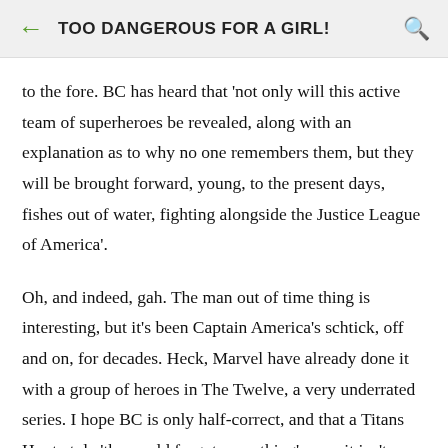TOO DANGEROUS FOR A GIRL!
to the fore. BC has heard that 'not only will this active team of superheroes be revealed, along with an explanation as to why no one remembers them, but they will be brought forward, young, to the present days, fishes out of water, fighting alongside the Justice League of America'.
Oh, and indeed, gah. The man out of time thing is interesting, but it's been Captain America's schtick, off and on, for decades. Heck, Marvel have already done it with a group of heroes in The Twelve, a very underrated series. I hope BC is only half-correct, and that a Titans Hunt-style 'the world forgot everything' conceit isn't coming. I like the JSA either as